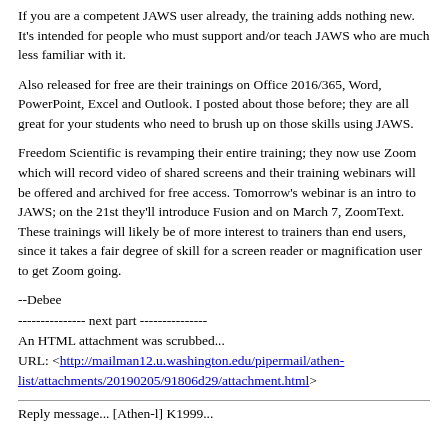If you are a competent JAWS user already, the training adds nothing new. It's intended for people who must support and/or teach JAWS who are much less familiar with it.
Also released for free are their trainings on Office 2016/365, Word, PowerPoint, Excel and Outlook. I posted about those before; they are all great for your students who need to brush up on those skills using JAWS.
Freedom Scientific is revamping their entire training; they now use Zoom which will record video of shared screens and their training webinars will be offered and archived for free access. Tomorrow's webinar is an intro to JAWS; on the 21st they'll introduce Fusion and on March 7, ZoomText. These trainings will likely be of more interest to trainers than end users, since it takes a fair degree of skill for a screen reader or magnification user to get Zoom going.
--Debee
--------------- next part ---------------
An HTML attachment was scrubbed...
URL: <http://mailman12.u.washington.edu/pipermail/athen-list/attachments/20190205/91806d29/attachment.html>
Reply message... [Athen-l] K1999...